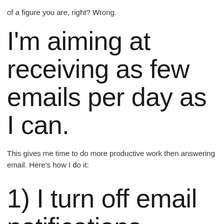of a figure you are, right? Wrong.
I'm aiming at receiving as few emails per day as I can.
This gives me time to do more productive work then answering email. Here's how I do it:
1) I turn off email notifications